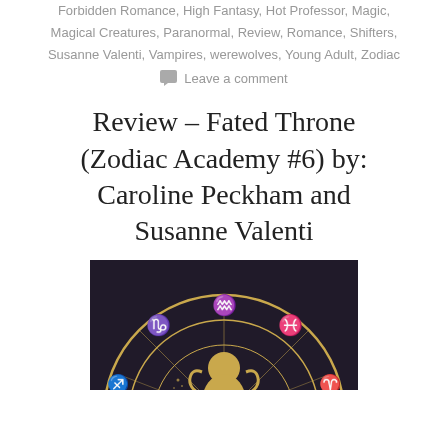Forbidden Romance, High Fantasy, Hot Professor, Magic, Magical Creatures, Paranormal, Review, Romance, Shifters, Susanne Valenti, Vampires, werewolves, Young Adult, Zodiac
Leave a comment
Review – Fated Throne (Zodiac Academy #6) by: Caroline Peckham and Susanne Valenti
[Figure (illustration): Book cover image showing a dark background with a golden zodiac wheel featuring astrological symbols including Capricorn, Aquarius, Pisces and others around a circular ring. In the center is a golden ornamental figure/symbol. The image is partially cropped showing the upper portion of the cover.]